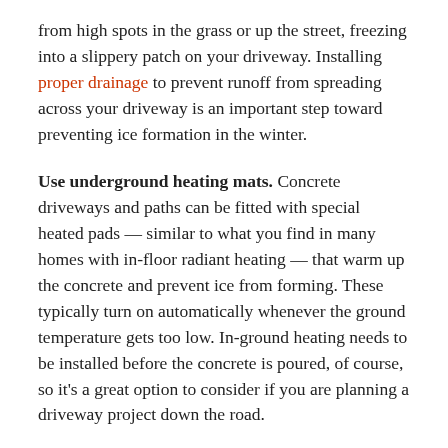from high spots in the grass or up the street, freezing into a slippery patch on your driveway. Installing proper drainage to prevent runoff from spreading across your driveway is an important step toward preventing ice formation in the winter.
Use underground heating mats. Concrete driveways and paths can be fitted with special heated pads — similar to what you find in many homes with in-floor radiant heating — that warm up the concrete and prevent ice from forming. These typically turn on automatically whenever the ground temperature gets too low. In-ground heating needs to be installed before the concrete is poured, of course, so it's a great option to consider if you are planning a driveway project down the road.
Install pervious concrete. Pervious concrete is full of air voids that discourage the buildup of snow and ice. Instead of freezing to form an icy layer, as with